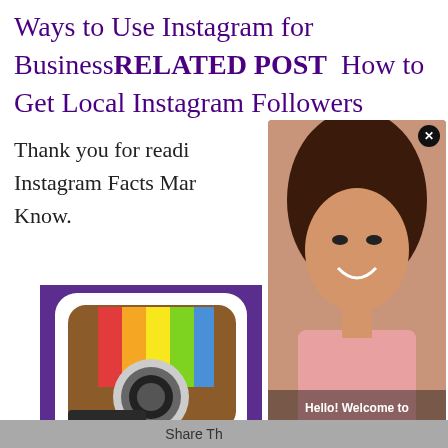Ways to Use Instagram for BusinessRELATED POST  How to Get Local Instagram Followers
Thank you for reading Instagram Facts Marketers Should Know.
[Figure (photo): Instagram app icon/logo with camera and colorful stripes, purple background, 'Insta' text visible]
[Figure (photo): Video overlay showing a woman smiling, with text 'Hello! Welcome to my website!']
Share This